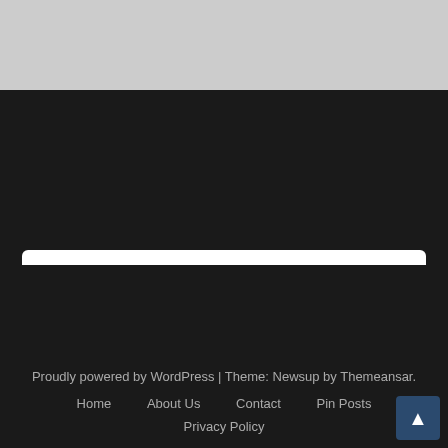[Figure (screenshot): Grey top bar area of a webpage]
We use cookies on our website to give you the most relevant experience by remembering your preferences and repeat visits. By clicking “Accept”, you consent to the use of ALL the cookies.
Do not sell my personal information.
Cookie Settings
Accept
Proudly powered by WordPress | Theme: Newsup by Themeansar.
Home   About Us   Contact   Pin Posts
Privacy Policy